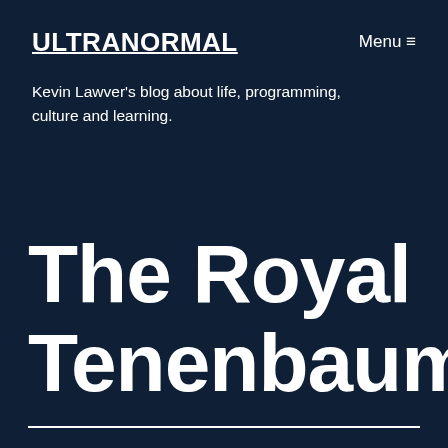ULTRANORMAL
Menu ≡
Kevin Lawver's blog about life, programming, culture and learning.
The Royal Tenenbaums